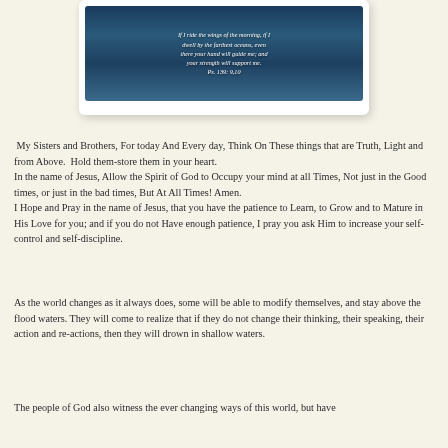[Figure (photo): Photo of ocean/sea with italic white text overlay showing a Bible verse: 'If I ride the wings of the morning, if I dwell by the farthest oceans, even there your hand will guide me; and your strength will support me. Ps. 139: 9,10']
My Sisters and Brothers, For today And Every day, Think On These things that are Truth, Light and from Above. Hold them-store them in your heart. In the name of Jesus, Allow the Spirit of God to Occupy your mind at all Times, Not just in the Good times, or just in the bad times, But At All Times! Amen. I Hope and Pray in the name of Jesus, that you have the patience to Learn, to Grow and to Mature in His Love for you; and if you do not Have enough patience, I pray you ask Him to increase your self-control and self-discipline.
As the world changes as it always does, some will be able to modify themselves, and stay above the flood waters. They will come to realize that if they do not change their thinking, their speaking, their action and re-actions, then they will drown in shallow waters.
The people of God also witness the ever changing ways of this world, but have